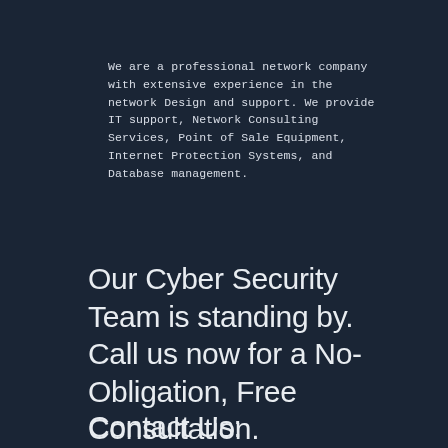We are a professional network company with extensive experience in the network Design and support. We provide IT support, Network Consulting Services, Point of Sale Equipment, Internet Protection Systems, and Database management.
Our Cyber Security Team is standing by. Call us now for a No-Obligation, Free Consultation.
Contact Us: